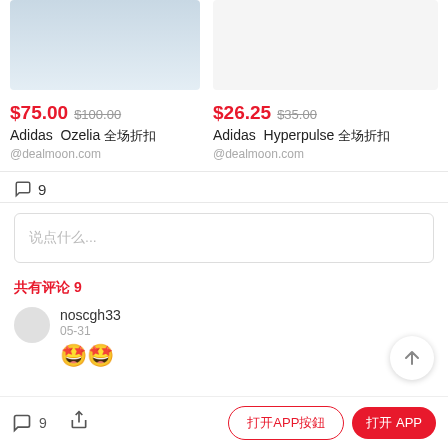[Figure (photo): Product image of Adidas Ozelia shoes (partial, top cropped), light gray/blue background]
$75.00  $100.00
Adidas  Ozelia 全场折扣
@dealmoon.com
$26.25  $35.00
Adidas  Hyperpulse 全场折扣
@dealmoon.com
评论  9
说点什么...
共有评论 9
noscgh33
05-31
[Figure (other): Two 'starstruck' emoji faces side by side]
💬 9  [share]  [打开APP按钮]  [打开 APP]